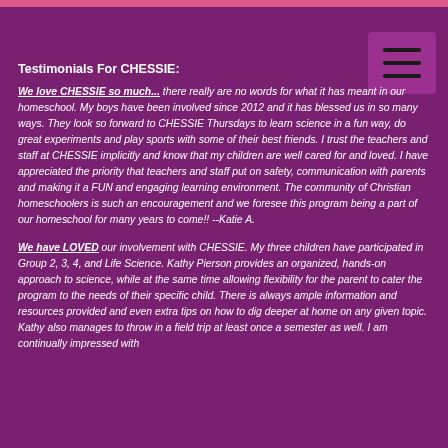Testimonials For CHESSIE:
We love CHESSIE so much... there really are no words for what it has meant in our homeschool. My boys have been involved since 2012 and it has blessed us in so many ways. They look so forward to CHESSIE Thursdays to learn science in a fun way, do great experiments and play sports with some of their best friends. I trust the teachers and staff at CHESSIE implicitly and know that my children are well cared for and loved. I have appreciated the priority that teachers and staff put on safety, communication with parents and making it a FUN and engaging learning environment. The community of Christian homeschoolers is such an encouragement and we foresee this program being a part of our homeschool for many years to come!! --Katie A.
We have LOVED our involvement with CHESSIE. My three children have participated in Group 2, 3, 4, and Life Science. Kathy Pierson provides an organized, hands-on approach to science, while at the same time allowing flexibility for the parent to cater the program to the needs of their specific child. There is always ample information and resources provided and even extra tips on how to dig deeper at home on any given topic. Kathy also manages to throw in a field trip at least once a semester as well. I am continually impressed with